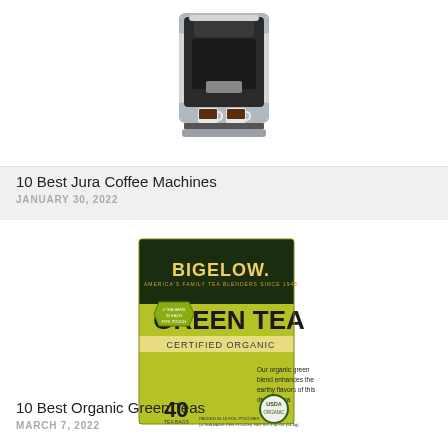[Figure (photo): A Jura automatic coffee machine shown from front, with two espresso glasses filled with coffee underneath the spout. Machine is silver and black.]
10 Best Jura Coffee Machines
JANUARY 30, 2022
[Figure (photo): A box of Bigelow GREEN TEA Certified Organic, yellow-green packaging with dark green label, 40 tea bags, USDA Organic certified.]
10 Best Organic Green Teas
MARCH 7, 2022